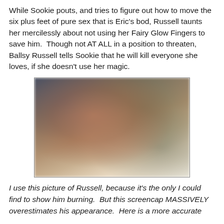While Sookie pouts, and tries to figure out how to move the six plus feet of pure sex that is Eric's bod, Russell taunts her mercilessly about not using her Fairy Glow Fingers to save him.  Though not AT ALL in a position to threaten, Ballsy Russell tells Sookie that he will kill everyone she loves, if she doesn't use her magic.
[Figure (photo): A blurry screencap from a TV show showing a person lying on the ground, appearing to be burning or injured, with a dark background.]
I use this picture of Russell, because it's the only I could find to show him burning.  But this screencap MASSIVELY overestimates his appearance.  Here is a more accurate